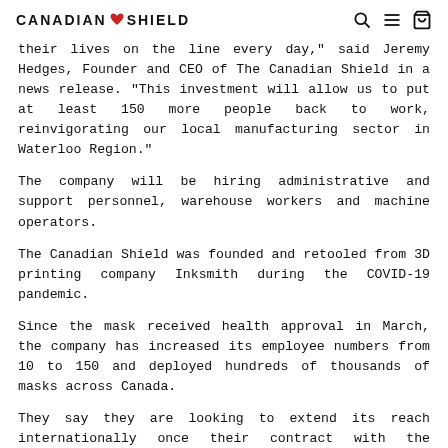CANADIAN SHIELD
their lives on the line every day," said Jeremy Hedges, Founder and CEO of The Canadian Shield in a news release. "This investment will allow us to put at least 150 more people back to work, reinvigorating our local manufacturing sector in Waterloo Region."
The company will be hiring administrative and support personnel, warehouse workers and machine operators.
The Canadian Shield was founded and retooled from 3D printing company Inksmith during the COVID-19 pandemic.
Since the mask received health approval in March, the company has increased its employee numbers from 10 to 150 and deployed hundreds of thousands of masks across Canada.
They say they are looking to extend its reach internationally once their contract with the Canadian government is fulfilled.